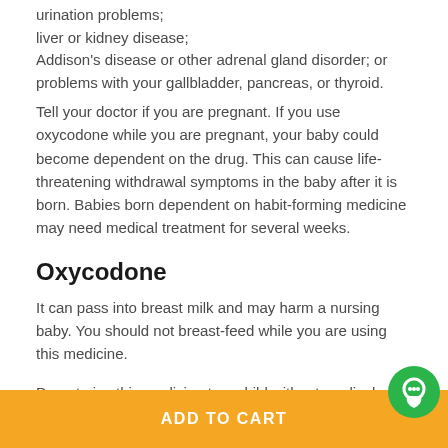urination problems;
liver or kidney disease;
Addison's disease or other adrenal gland disorder; or
problems with your gallbladder, pancreas, or thyroid.
Tell your doctor if you are pregnant. If you use oxycodone while you are pregnant, your baby could become dependent on the drug. This can cause life-threatening withdrawal symptoms in the baby after it is born. Babies born dependent on habit-forming medicine may need medical treatment for several weeks.
Oxycodone
It can pass into breast milk and may harm a nursing baby. You should not breast-feed while you are using this medicine.
Do not give this medicine to a child without medical advice.
How should I use oxycodone?
ADD TO CART